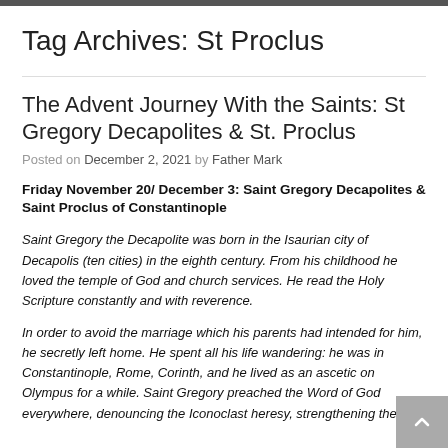Tag Archives: St Proclus
The Advent Journey With the Saints: St Gregory Decapolites & St. Proclus
Posted on December 2, 2021 by Father Mark
Friday November 20/ December 3: Saint Gregory Decapolites & Saint Proclus of Constantinople
Saint Gregory the Decapolite was born in the Isaurian city of Decapolis (ten cities) in the eighth century. From his childhood he loved the temple of God and church services. He read the Holy Scripture constantly and with reverence.
In order to avoid the marriage which his parents had intended for him, he secretly left home. He spent all his life wandering: he was in Constantinople, Rome, Corinth, and he lived as an ascetic on Olympus for a while. Saint Gregory preached the Word of God everywhere, denouncing the Iconoclast heresy, strengthening the